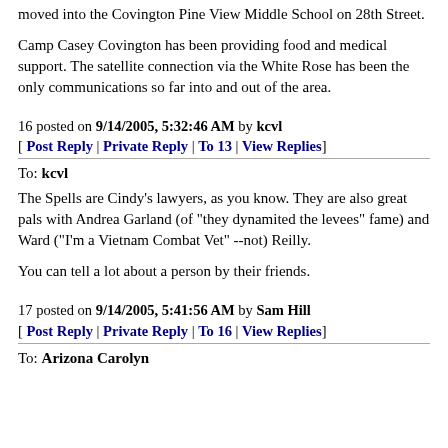moved into the Covington Pine View Middle School on 28th Street.
Camp Casey Covington has been providing food and medical support. The satellite connection via the White Rose has been the only communications so far into and out of the area.
16 posted on 9/14/2005, 5:32:46 AM by kcvl
[ Post Reply | Private Reply | To 13 | View Replies]
To: kcvl
The Spells are Cindy's lawyers, as you know. They are also great pals with Andrea Garland (of "they dynamited the levees" fame) and Ward ("I'm a Vietnam Combat Vet" --not) Reilly.
You can tell a lot about a person by their friends.
17 posted on 9/14/2005, 5:41:56 AM by Sam Hill
[ Post Reply | Private Reply | To 16 | View Replies]
To: Arizona Carolyn